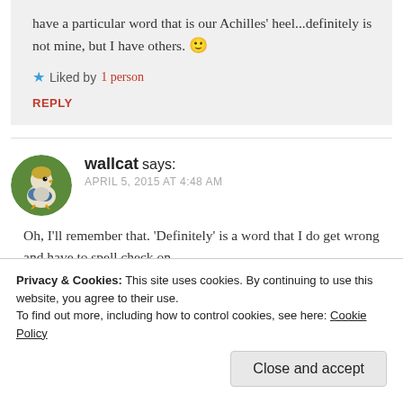have a particular word that is our Achilles' heel...definitely is not mine, but I have others. 🙂
★ Liked by 1 person
REPLY
wallcat says: APRIL 5, 2015 AT 4:48 AM
Oh, I'll remember that. 'Definitely' is a word that I do get wrong and have to spell check on,
Privacy & Cookies: This site uses cookies. By continuing to use this website, you agree to their use.
To find out more, including how to control cookies, see here: Cookie Policy
Close and accept
definitely spelt it right in this comment.